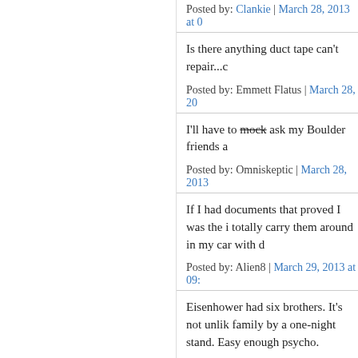Posted by: Clankie | March 28, 2013 at 0…
Is there anything duct tape can't repair...c
Posted by: Emmett Flatus | March 28, 20…
I'll have to mock ask my Boulder friends a…
Posted by: Omniskeptic | March 28, 2013…
If I had documents that proved I was the i… totally carry them around in my car with d…
Posted by: Alien8 | March 29, 2013 at 09…
Eisenhower had six brothers. It's not unlik… family by a one-night stand. Easy enough… psycho.